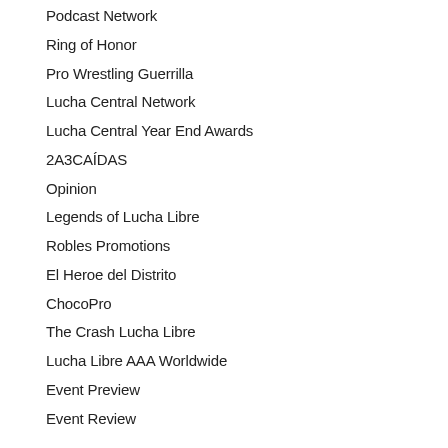Podcast Network
Ring of Honor
Pro Wrestling Guerrilla
Lucha Central Network
Lucha Central Year End Awards
2A3CAÍDAS
Opinion
Legends of Lucha Libre
Robles Promotions
El Heroe del Distrito
ChocoPro
The Crash Lucha Libre
Lucha Libre AAA Worldwide
Event Preview
Event Review